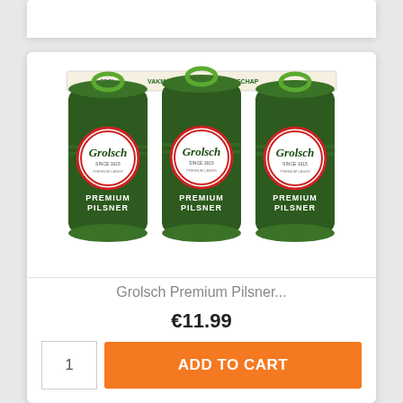[Figure (photo): Three Grolsch Premium Pilsner beer cans in a multipack cardboard carrier. Dark green cans with white circular Grolsch logo and red ring. Carrier text reads '6x33CL' and 'VAKMANSCHAP IS MEESTERSCHAP'.]
Grolsch Premium Pilsner...
€11.99
1
ADD TO CART